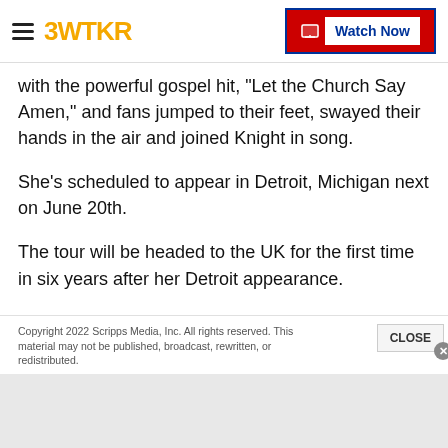3WTKR — Watch Now
with the powerful gospel hit, "Let the Church Say Amen," and fans jumped to their feet, swayed their hands in the air and joined Knight in song.
She's scheduled to appear in Detroit, Michigan next on June 20th.
The tour will be headed to the UK for the first time in six years after her Detroit appearance.
Click here to see the full schedule.
Copyright 2022 Scripps Media, Inc. All rights reserved. This material may not be published, broadcast, rewritten, or redistributed.